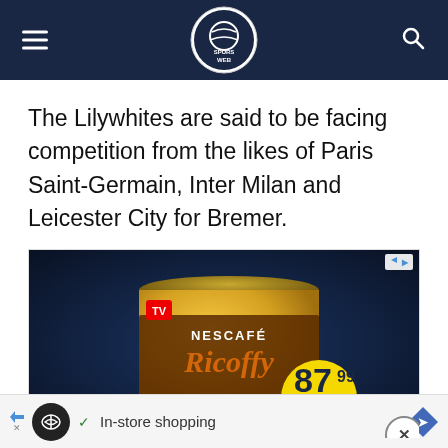Spurs Web
The Lilywhites are said to be facing competition from the likes of Paris Saint-Germain, Inter Milan and Leicester City for Bremer.
[Figure (photo): Advertisement showing a Nescafe Ricoffy coffee tin with price 87.99 and SAVE R22 offer on a dark blue background]
[Figure (infographic): Bottom ad bar with In-store shopping text and navigation icons]